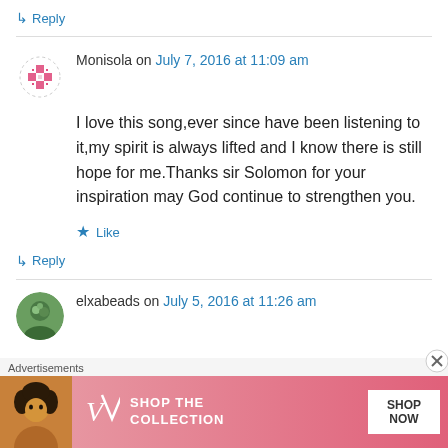↳ Reply
Monisola on July 7, 2016 at 11:09 am
I love this song,ever since have been listening to it,my spirit is always lifted and I know there is still hope for me.Thanks sir Solomon for your inspiration may God continue to strengthen you.
★ Like
↳ Reply
elxabeads on July 5, 2016 at 11:26 am
Advertisements
[Figure (photo): Victoria's Secret advertisement banner with model, VS logo, SHOP THE COLLECTION text, and SHOP NOW button]